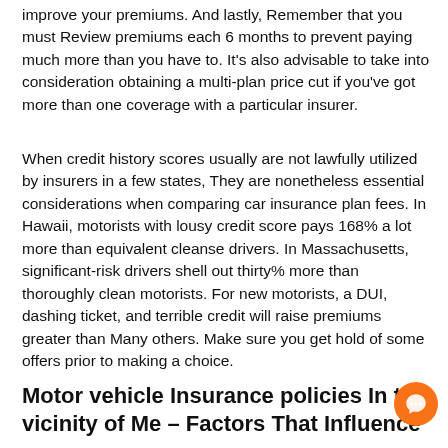improve your premiums. And lastly, Remember that you must Review premiums each 6 months to prevent paying much more than you have to. It's also advisable to take into consideration obtaining a multi-plan price cut if you've got more than one coverage with a particular insurer.
When credit history scores usually are not lawfully utilized by insurers in a few states, They are nonetheless essential considerations when comparing car insurance plan fees. In Hawaii, motorists with lousy credit score pays 168% a lot more than equivalent cleanse drivers. In Massachusetts, significant-risk drivers shell out thirty% more than thoroughly clean motorists. For new motorists, a DUI, dashing ticket, and terrible credit will raise premiums greater than Many others. Make sure you get hold of some offers prior to making a choice.
Motor vehicle Insurance policies In the vicinity of Me – Factors That Influence